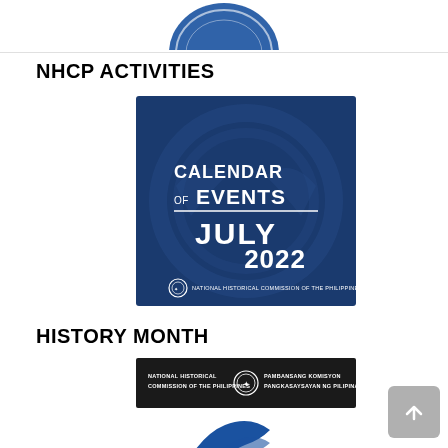[Figure (logo): Partial view of NHCP circular logo at the top of the page]
NHCP ACTIVITIES
[Figure (illustration): NHCP Calendar of Events July 2022 — dark blue square image with white text reading 'CALENDAR OF EVENTS' with a horizontal line, then 'JULY 2022' in large text, and 'National Historical Commission of the Philippines' with seal at bottom]
HISTORY MONTH
[Figure (illustration): Dark banner with text: 'National Historical Commission of the Philippines' on left, NHCP seal in center, 'Pambansang Komisyon Pangkasaysayan ng Pilipinas' on right]
[Figure (logo): Partial blue NHCP logo at bottom, cropped]